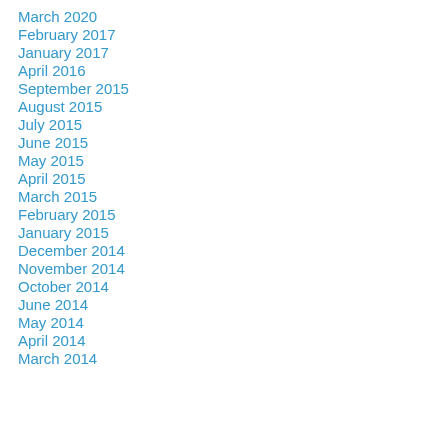March 2020
February 2017
January 2017
April 2016
September 2015
August 2015
July 2015
June 2015
May 2015
April 2015
March 2015
February 2015
January 2015
December 2014
November 2014
October 2014
June 2014
May 2014
April 2014
March 2014